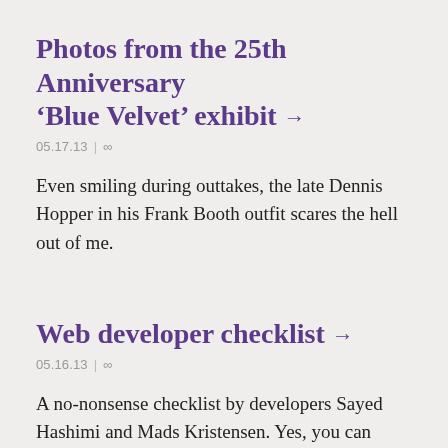Photos from the 25th Anniversary ‘Blue Velvet’ exhibit →
05.17.13 | ∞
Even smiling during outtakes, the late Dennis Hopper in his Frank Booth outfit scares the hell out of me.
Web developer checklist →
05.16.13 | ∞
A no-nonsense checklist by developers Sayed Hashimi and Mads Kristensen. Yes, you can technically use it as an actual web task manager, but the real benefit here